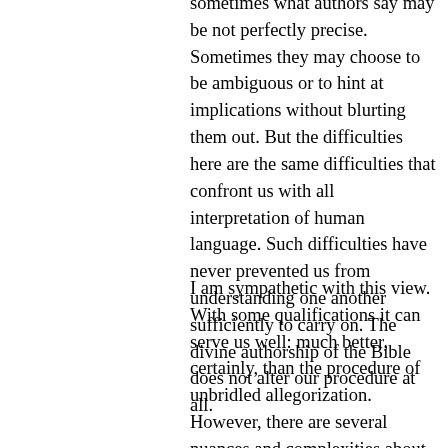sometimes what authors say may be not perfectly precise. Sometimes they may choose to be ambiguous or to hint at implications without blurting them out. But the difficulties here are the same difficulties that confront us with all interpretation of human language. Such difficulties have never prevented us from understanding one another sufficiently to carry on. The divine authorship of the Bible does not alter our procedure at all.
I am sympathetic with this view. With some qualifications it can serve us well: much better, certainly, than the procedure of unbridled allegorization. However, there are several nuances and complexities about interpretation that this view does not handle well.
First of all, and perhaps most obviously, this view, at least as described so far, does not tell us enough about how the Bible speaks to our situation and applies to ourselves.[8] Some of the human authors of the Bible were, perhaps, consciously "writing for posterity," but most, at least, were writing primarily to their contemporaries. They did not write with us directly in view. Nor did